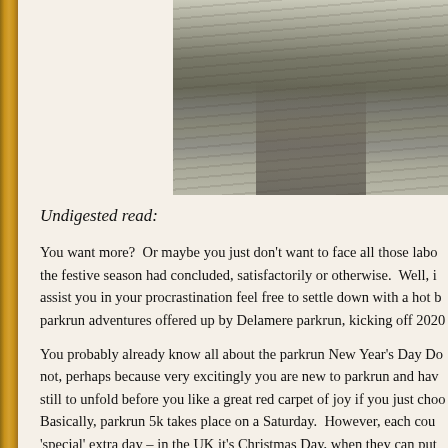[Figure (photo): A forest path or woodland trail with bare trees, photographed in muted winter tones. The path stretches into the distance through a wooded area.]
Undigested read:
You want more?  Or maybe you just don't want to face all those labo the festive season had concluded, satisfactorily or otherwise.  Well, i assist you in your procrastination feel free to settle down with a hot b parkrun adventures offered up by Delamere parkrun, kicking off 2020
You probably already know all about the parkrun New Year's Day Do not, perhaps because very excitingly you are new to parkrun and hav still to unfold before you like a great red carpet of joy if you just choo Basically, parkrun 5k takes place on a Saturday.  However, each cou 'special' extra day – in the UK it's Christmas Day, when they can put fun thing to do.  Better still, on New Year's Day only, parkruns can no